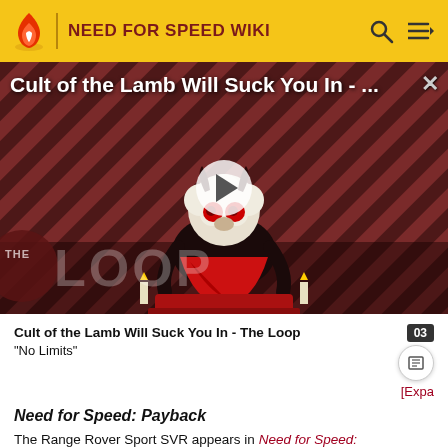NEED FOR SPEED WIKI
[Figure (screenshot): Video thumbnail showing 'Cult of the Lamb Will Suck You In - ...' with a cartoon lamb character on a striped background, a play button in the center, and 'THE LOOP' watermark at the bottom left. A close (X) button appears in the upper right.]
Cult of the Lamb Will Suck You In - The Loop
"No Limits"
[Expa
Need for Speed: Payback
The Range Rover Sport SVR appears in Need for Speed: